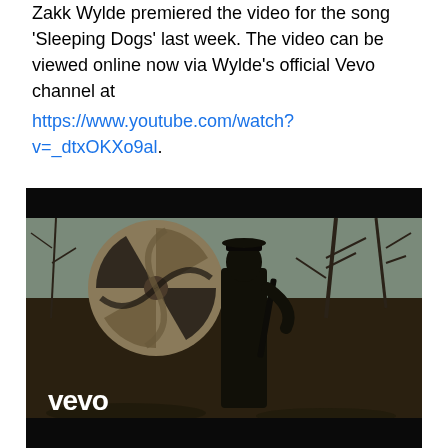Zakk Wylde premiered the video for the song 'Sleeping Dogs' last week. The video can be viewed online now via Wylde's official Vevo channel at https://www.youtube.com/watch?v=_dtxOKXo9al.
[Figure (screenshot): A dark music video screenshot showing a silhouetted figure in a bowler hat holding a guitar, with a large spiraling circular object in the background and bare trees. The Vevo logo appears in white in the lower left corner. The frame has black letterbox bars at top and bottom.]